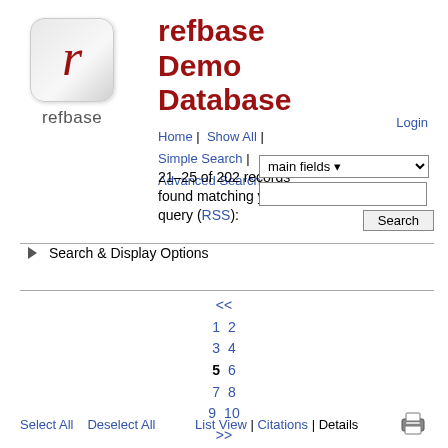[Figure (logo): refbase logo: rounded square with italic red r, text refbase below]
refbase Demo Database
Home | Show All | Simple Search | Advanced Search
Login
21–25 of 202 records found matching your query (RSS):
[Figure (screenshot): Search widget with main fields dropdown, text input, and Search button]
► Search & Display Options
<< 1 2 3 4 5 6 7 8 9 10 >> [11–20]
Select All   Deselect All   List View | Citations | Details   [print icon]